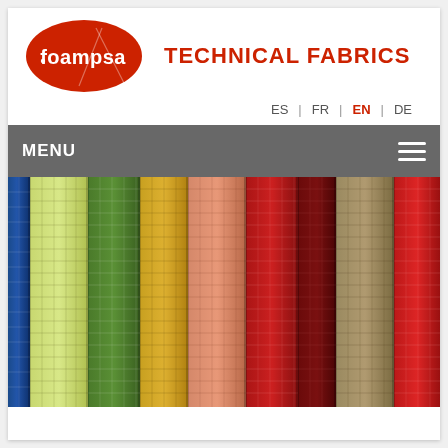[Figure (logo): Foampsa logo: red oval with white 'foampsa' text and geometric line design]
TECHNICAL FABRICS
ES | FR | EN | DE
MENU
[Figure (photo): Colorful rolls of mesh/net technical fabrics in blue, light green, green, yellow, peach/orange, red, dark red, tan/khaki, and red, standing vertically]